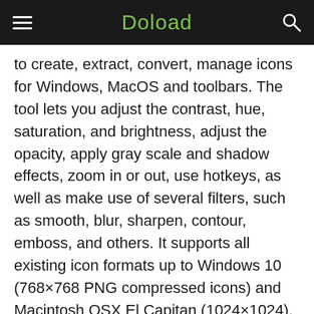Doload
to create, extract, convert, manage icons for Windows, MacOS and toolbars. The tool lets you adjust the contrast, hue, saturation, and brightness, adjust the opacity, apply gray scale and shadow effects, zoom in or out, use hotkeys, as well as make use of several filters, such as smooth, blur, sharpen, contour, emboss, and others. It supports all existing icon formats up to Windows 10 (768×768 PNG compressed icons) and Macintosh OSX El Capitan (1024×1024). The program also features drag and drop function enabling you to easily create attractive icons from various ready to use image objects in seconds. Once an image has been created, the application enables you to add several image formats in a click. It also supports a wide range of batch processing modes that enables you to automatically perform operations on a large number of files. The application also works as a converter allowing you